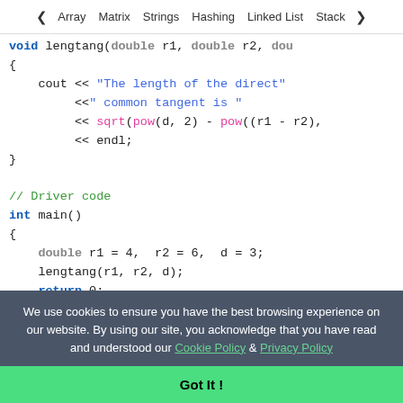< Array   Matrix   Strings   Hashing   Linked List   Stack >
[Figure (screenshot): C++ code snippet showing a function body with cout statements printing 'The length of the direct common tangent is' followed by sqrt(pow(d,2)-pow((r1-r2),...) and endl, then a // Driver code comment, int main() function with double r1=4, r2=6, d=3; lengtang(r1,r2,d); return 0;]
We use cookies to ensure you have the best browsing experience on our website. By using our site, you acknowledge that you have read and understood our Cookie Policy & Privacy Policy
Got It !